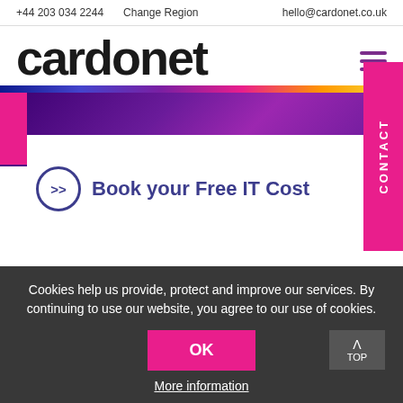+44 203 034 2244  Change Region  hello@cardonet.co.uk
cardonet
[Figure (screenshot): Cardonet website screenshot with rainbow stripe, purple banner, hamburger menu, CONTACT vertical tab, and Book your Free IT Cost CTA]
Book your Free IT Cost
Cookies help us provide, protect and improve our services. By continuing to use our website, you agree to our use of cookies.
OK
More information